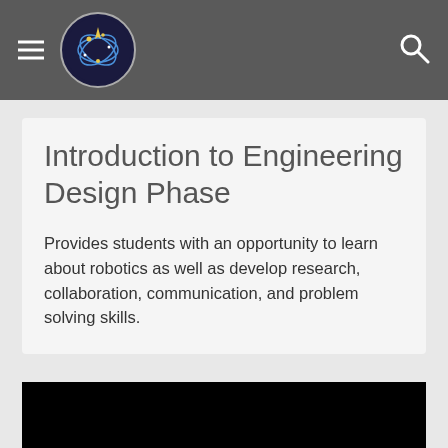Introduction to Engineering Design Phase
Provides students with an opportunity to learn about robotics as well as develop research, collaboration, communication, and problem solving skills.
[Figure (photo): Black video thumbnail area at bottom of page]